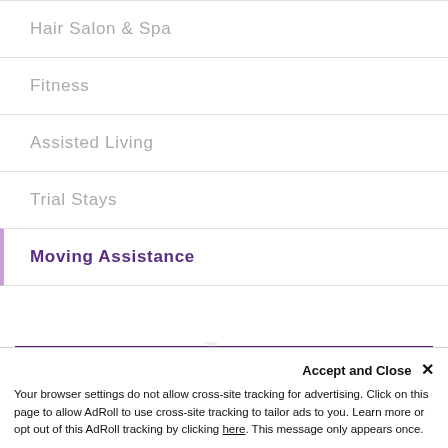Hair Salon & Spa
Fitness
Assisted Living
Trial Stays
Moving Assistance
Accept and Close ✕
Your browser settings do not allow cross-site tracking for advertising. Click on this page to allow AdRoll to use cross-site tracking to tailor ads to you. Learn more or opt out of this AdRoll tracking by clicking here. This message only appears once.